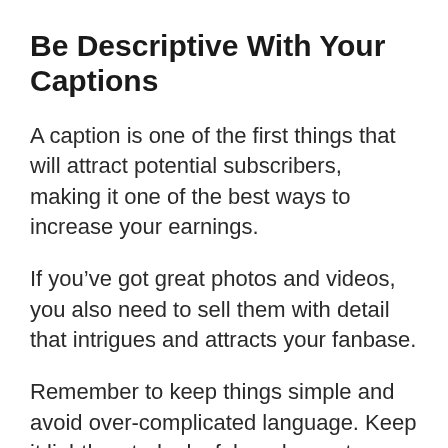Be Descriptive With Your Captions
A caption is one of the first things that will attract potential subscribers, making it one of the best ways to increase your earnings.
If you've got great photos and videos, you also need to sell them with detail that intrigues and attracts your fanbase.
Remember to keep things simple and avoid over-complicated language. Keep it lighthearted, playful, and easy to